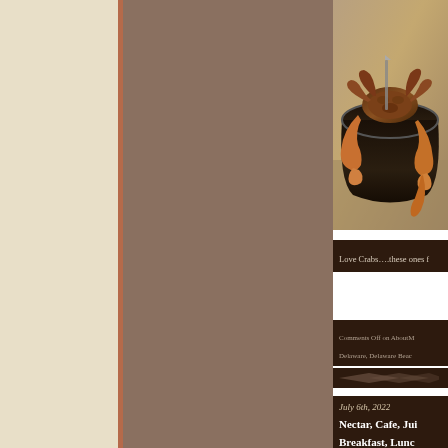[Figure (photo): A crab in a dark bowl photographed from above, with orange claws visible against sandy background]
Love Crabs….these ones f
Comments Off on AboutM Delaware, Delaware Beac
July 6th, 2022
Nectar, Cafe, Jui Breakfast, Lunc Histori...